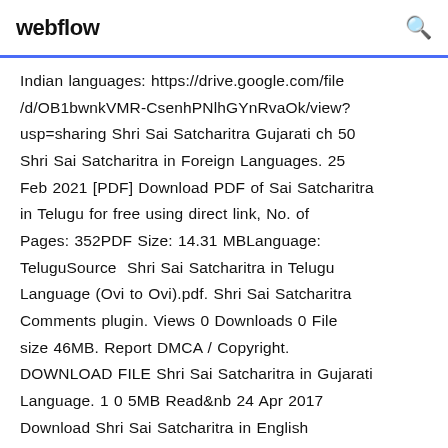webflow
Indian languages: https://drive.google.com/file/d/OB1bwnkVMR-CsenhPNlhGYnRvaOk/view?usp=sharing Shri Sai Satcharitra Gujarati ch 50 Shri Sai Satcharitra in Foreign Languages. 25 Feb 2021 [PDF] Download PDF of Sai Satcharitra in Telugu for free using direct link, No. of Pages: 352PDF Size: 14.31 MBLanguage: TeluguSource  Shri Sai Satcharitra in Telugu Language (Ovi to Ovi).pdf. Shri Sai Satcharitra Comments plugin. Views 0 Downloads 0 File size 46MB. Report DMCA / Copyright. DOWNLOAD FILE Shri Sai Satcharitra in Gujarati Language. 1 0 5MB Read&nb 24 Apr 2017 Download Shri Sai Satcharitra in English Language (Translated by DOWNLOAD PDF -